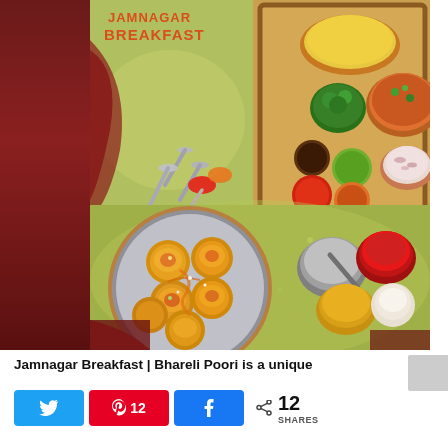[Figure (photo): Overhead food photography of Jamnagar Breakfast spread featuring Bhareli Poori on a silver plate, various chutneys and condiments in bowls, spices, and Indian food items arranged on a wooden tray and green cloth background, with text overlay reading 'JAMNAGAR BREAKFAST']
Jamnagar Breakfast | Bhareli Poori is a unique
< 12 SHARES